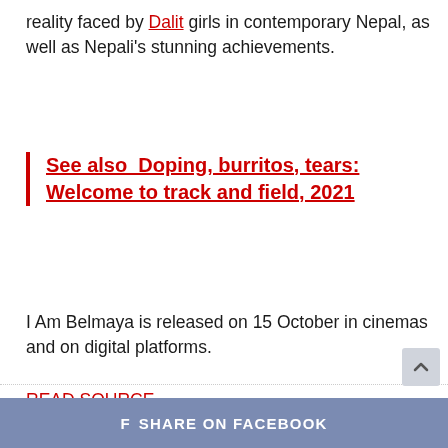reality faced by Dalit girls in contemporary Nepal, as well as Nepali's stunning achievements.
See also  Doping, burritos, tears: Welcome to track and field, 2021
I Am Belmaya is released on 15 October in cinemas and on digital platforms.
READ SOURCE
f  SHARE ON FACEBOOK